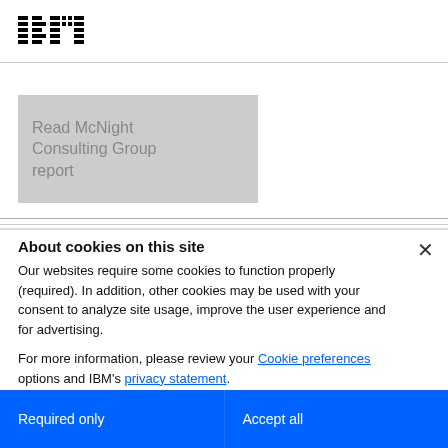IBM
[Figure (screenshot): Gray placeholder box with text 'Read McNight Consulting Group report']
About cookies on this site
Our websites require some cookies to function properly (required). In addition, other cookies may be used with your consent to analyze site usage, improve the user experience and for advertising.
For more information, please review your Cookie preferences options and IBM's privacy statement.
Required only
Accept all